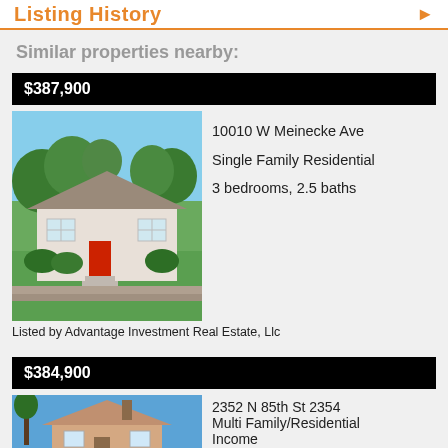Listing History
Similar properties nearby:
$387,900
[Figure (photo): Single family residential home with white exterior and red door, lawn and bushes in front, trees in background at 10010 W Meinecke Ave]
10010 W Meinecke Ave
Single Family Residential
3 bedrooms, 2.5 baths
Listed by Advantage Investment Real Estate, Llc
$384,900
[Figure (photo): Multi family residential home with tan/pink exterior and chimney at 2352 N 85th St 2354]
2352 N 85th St 2354
Multi Family/Residential Income